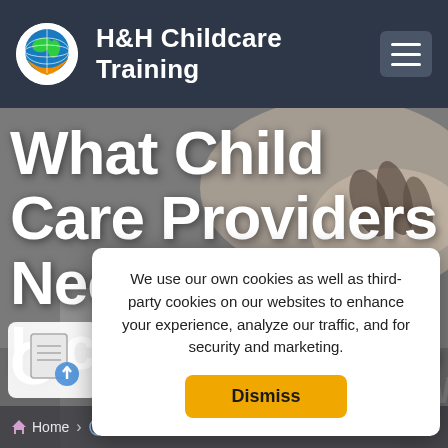H&H Childcare Training
What Child Care Providers Need to Know: Including All C A y
We use our own cookies as well as third-party cookies on our websites to enhance your experience, analyze our traffic, and for security and marketing.
Dismiss
Home Articles